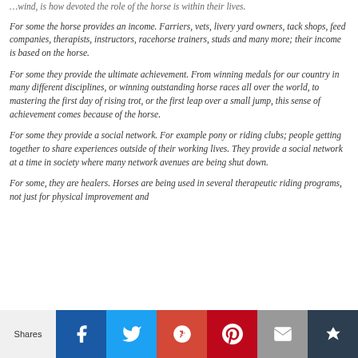…wind, is how devoted the role of the horse is within their lives.
For some the horse provides an income.  Farriers, vets, livery yard owners, tack shops, feed companies, therapists, instructors, racehorse trainers, studs and many more; their income is based on the horse.
For some they provide the ultimate achievement. From winning medals for our country in many different disciplines, or winning outstanding horse races all over the world, to mastering the first day of rising trot, or the first leap over a small jump, this sense of achievement comes because of the horse.
For some they provide a social network.  For example pony or riding clubs; people getting together to share experiences outside of their working lives.  They provide a social network at a time in society where many network avenues are being shut down.
For some, they are healers.  Horses are being used in several therapeutic riding programs, not just for physical improvement and